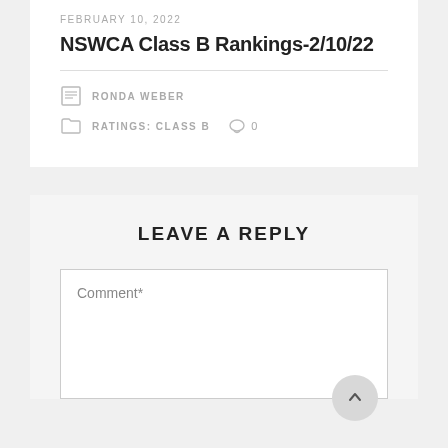FEBRUARY 10, 2022
NSWCA Class B Rankings-2/10/22
RONDA WEBER
RATINGS: CLASS B  0
LEAVE A REPLY
Comment*